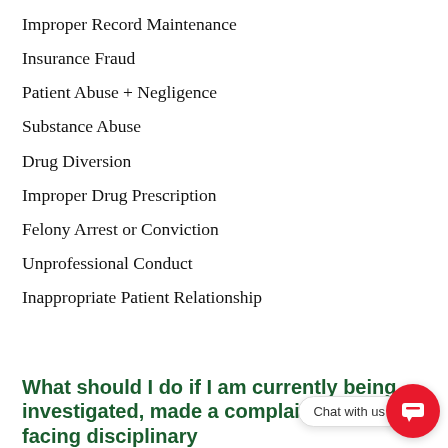Improper Record Maintenance
Insurance Fraud
Patient Abuse + Negligence
Substance Abuse
Drug Diversion
Improper Drug Prescription
Felony Arrest or Conviction
Unprofessional Conduct
Inappropriate Patient Relationship
What should I do if I am currently being investigated, made a complaint, or facing disciplinary